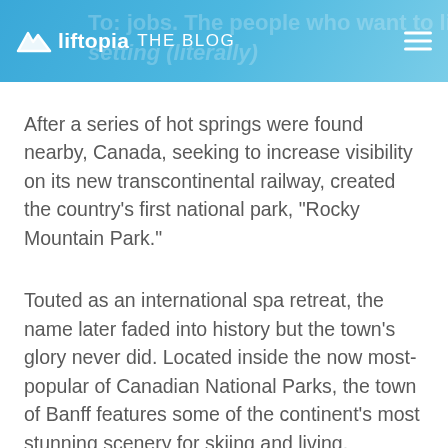liftopia THE BLOG
After a series of hot springs were found nearby, Canada, seeking to increase visibility on its new transcontinental railway, created the country's first national park, “Rocky Mountain Park.”
Touted as an international spa retreat, the name later faded into history but the town’s glory never did. Located inside the now most-popular of Canadian National Parks, the town of Banff features some of the continent’s most stunning scenery for skiing and living.
Is Banff the place for you? Find out more.